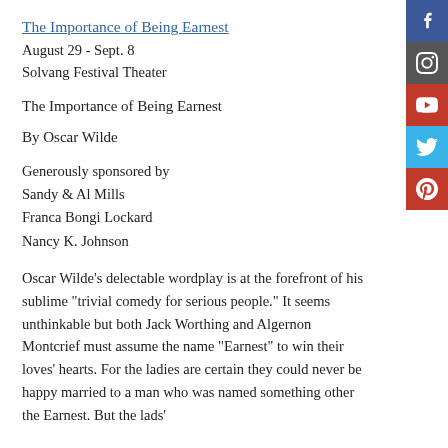The Importance of Being Earnest
August 29 - Sept. 8
Solvang Festival Theater
The Importance of Being Earnest
By Oscar Wilde
Generously sponsored by
Sandy & Al Mills
Franca Bongi Lockard
Nancy K. Johnson
Oscar Wilde's delectable wordplay is at the forefront of his sublime "trivial comedy for serious people." It seems unthinkable but both Jack Worthing and Algernon Montcrief must assume the name "Earnest" to win their loves' hearts. For the ladies are certain they could never be happy married to a man who was named something other the Earnest. But the lads'